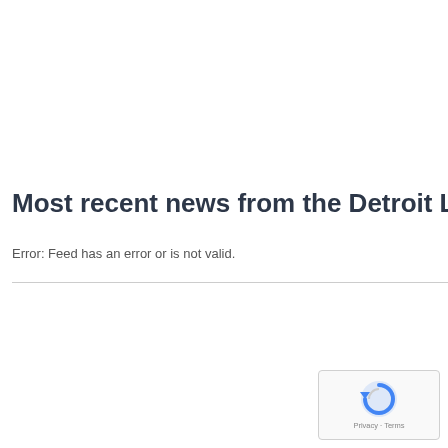Most recent news from the Detroit Lions
Error: Feed has an error or is not valid.
[Figure (logo): reCAPTCHA widget with Privacy and Terms links]